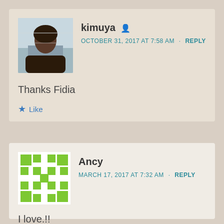[Figure (screenshot): Blog comment section screenshot showing two comments: kimuya on October 31 2017 saying Thanks Fidia, and Ancy on March 17 2017 saying I love.!!]
kimuya
OCTOBER 31, 2017 AT 7:58 AM · REPLY
Thanks Fidia
Like
Ancy
MARCH 17, 2017 AT 7:32 AM · REPLY
I love.!!